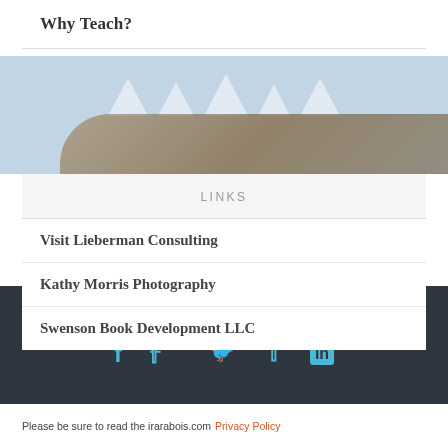Why Teach?
[Figure (photo): Background photo with triangular white shapes at top and a fish/nature image at bottom, over a light blue background]
LINKS
Visit Lieberman Consulting
Kathy Morris Photography
Swenson Book Development LLC
[Figure (infographic): Social media icons: Facebook (f), Twitter (bird), LinkedIn (in) in teal/cyan color on dark background]
Please be sure to read the irarabois.com Privacy Policy